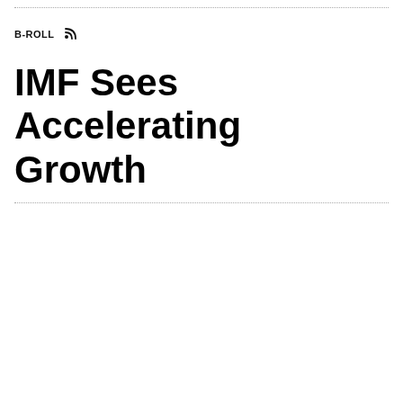B-ROLL
IMF Sees Accelerating Growth